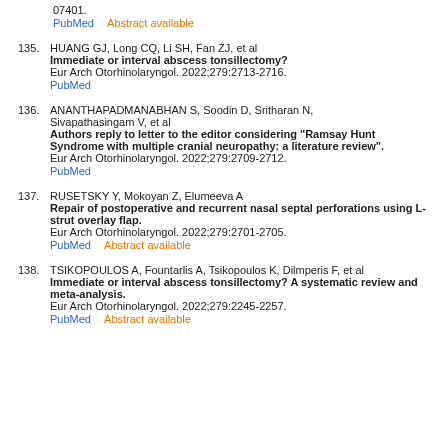07401.
PubMed    Abstract available
135. HUANG GJ, Long CQ, Li SH, Fan ZJ, et al
Immediate or interval abscess tonsillectomy?
Eur Arch Otorhinolaryngol. 2022;279:2713-2716.
PubMed
136. ANANTHAPADMANABHAN S, Soodin D, Sritharan N, Sivapathasingam V, et al
Authors reply to letter to the editor considering "Ramsay Hunt Syndrome with multiple cranial neuropathy: a literature review".
Eur Arch Otorhinolaryngol. 2022;279:2709-2712.
PubMed
137. RUSETSKY Y, Mokoyan Z, Elumeeva A
Repair of postoperative and recurrent nasal septal perforations using L-strut overlay flap.
Eur Arch Otorhinolaryngol. 2022;279:2701-2705.
PubMed    Abstract available
138. TSIKOPOULOS A, Fountarlis A, Tsikopoulos K, Dilmperis F, et al
Immediate or interval abscess tonsillectomy? A systematic review and meta-analysis.
Eur Arch Otorhinolaryngol. 2022;279:2245-2257.
PubMed    Abstract available